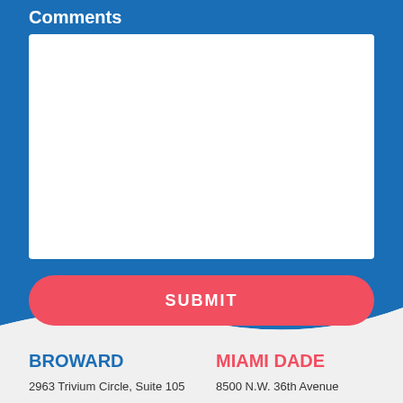Comments
[Figure (screenshot): White textarea input box for entering comments]
SUBMIT
BROWARD
MIAMI DADE
2963 Trivium Circle, Suite 105
8500 N.W. 36th Avenue